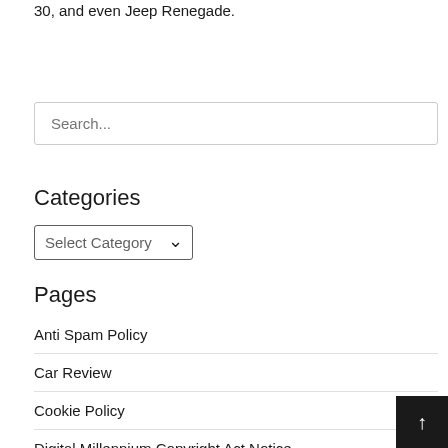30, and even Jeep Renegade.
Search...
Categories
Select Category
Pages
Anti Spam Policy
Car Review
Cookie Policy
Digital Millennium Copyright Act Notice
Disclaimer